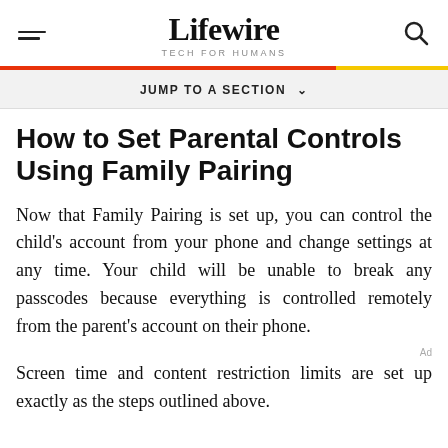Lifewire TECH FOR HUMANS
JUMP TO A SECTION
How to Set Parental Controls Using Family Pairing
Now that Family Pairing is set up, you can control the child's account from your phone and change settings at any time. Your child will be unable to break any passcodes because everything is controlled remotely from the parent's account on their phone.
Screen time and content restriction limits are set up exactly as the steps outlined above.